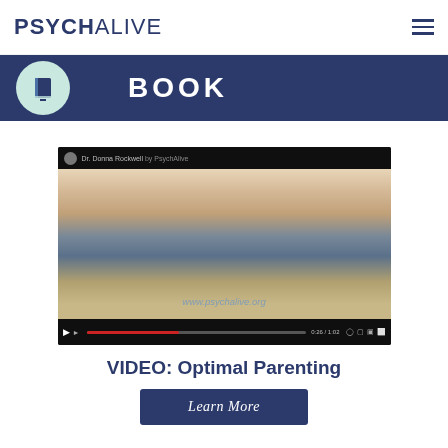PSYCHALIVE
[Figure (screenshot): PsychAlive website banner with blue background showing a book icon in a teal circle and the word BOOK in white bold letters on a ribbon/banner shape]
[Figure (screenshot): Video thumbnail showing Dr. Donna Rockwell by PsychAlive - a woman with long brown hair seated on a sofa, with watermark www.psychalive.org, video controls at bottom showing 0:26/1:02]
VIDEO: Optimal Parenting
Learn More